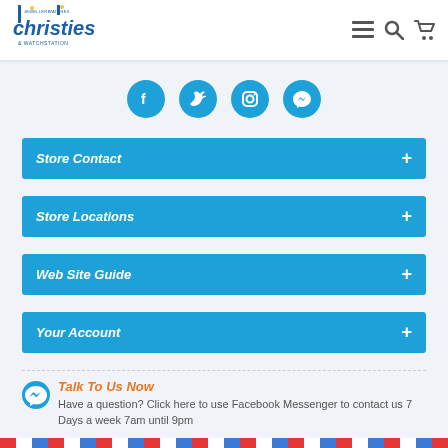Christies Jewellery Watches & Watchstation
[Figure (infographic): Social media icons row: Facebook, Twitter, Instagram, Messenger — all in teal/blue circles]
Store Contact +
Store Locations +
Web Site Guide +
Your Account +
Talk To Us Now
Have a question? Click here to use Facebook Messenger to contact us 7 Days a week 7am until 9pm